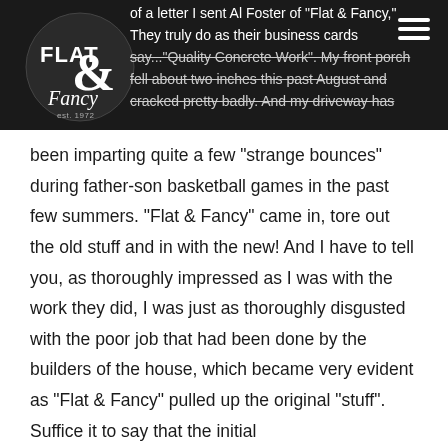Flat & Fancy logo and navigation header
of a letter I sent Al Foster of "Flat & Fancy," They truly do as their business cards say..."Quality Concrete Work". My front porch fell about two inches this past August and cracked pretty badly. And my driveway has been imparting quite a few "strange bounces" during father-son basketball games in the past few summers. "Flat & Fancy" came in, tore out the old stuff and in with the new! And I have to tell you, as thoroughly impressed as I was with the work they did, I was just as thoroughly disgusted with the poor job that had been done by the builders of the house, which became very evident as "Flat & Fancy" pulled up the original "stuff". Suffice it to say that the initial